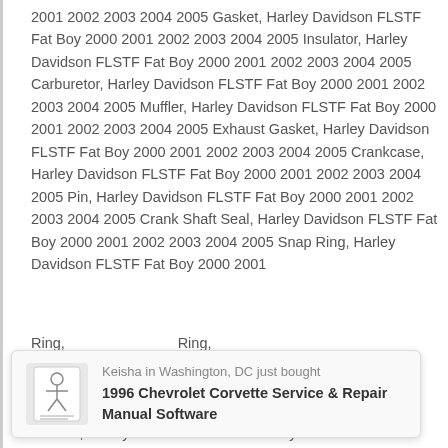2001 2002 2003 2004 2005 Gasket, Harley Davidson FLSTF Fat Boy 2000 2001 2002 2003 2004 2005 Insulator, Harley Davidson FLSTF Fat Boy 2000 2001 2002 2003 2004 2005 Carburetor, Harley Davidson FLSTF Fat Boy 2000 2001 2002 2003 2004 2005 Muffler, Harley Davidson FLSTF Fat Boy 2000 2001 2002 2003 2004 2005 Exhaust Gasket, Harley Davidson FLSTF Fat Boy 2000 2001 2002 2003 2004 2005 Crankcase, Harley Davidson FLSTF Fat Boy 2000 2001 2002 2003 2004 2005 Pin, Harley Davidson FLSTF Fat Boy 2000 2001 2002 2003 2004 2005 Crank Shaft Seal, Harley Davidson FLSTF Fat Boy 2000 2001 2002 2003 2004 2005 Snap Ring, Harley Davidson FLSTF Fat Boy
[Figure (other): Popup notification showing a person icon (motorcycle manual cover art) with text: 'Keisha in Washington, DC just bought' and '1996 Chevrolet Corvette Service & Repair Manual Software']
Ring, ...002 ...FLSTF ...ust Washer, Harley Davidson FLSTF Fat Boy 2000 2001